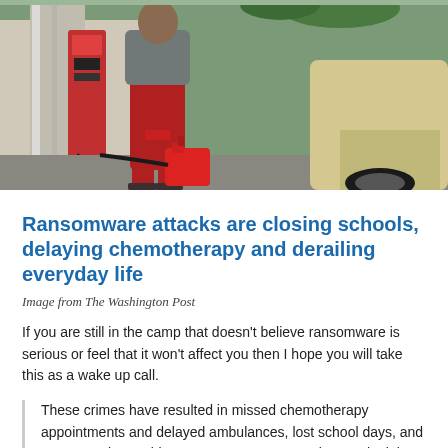[Figure (photo): A person in red sweatpants pumping gas into a red fuel container at a gas station, with a vehicle visible on the right side.]
Ransomware attacks are closing schools, delaying chemotherapy and derailing everyday life
Image from The Washington Post
If you are still in the camp that doesn't believe ransomware is serious or feel that it won't affect you then I hope you will take this as a wake up call.
These crimes have resulted in missed chemotherapy appointments and delayed ambulances, lost school days, and transportation problems. A ransomware attack on Colonial Pipeline in May led to gas shortages and even